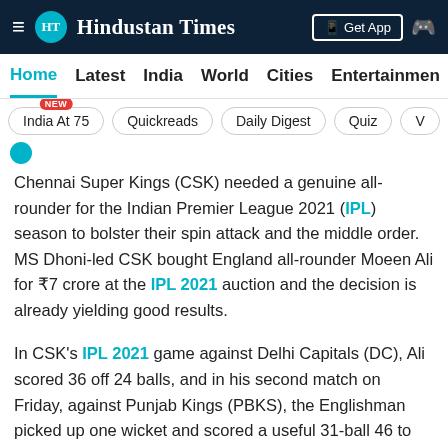Hindustan Times
Home | Latest | India | World | Cities | Entertainment
India At 75 (NEW) | Quickreads | Daily Digest | Quiz | V
Chennai Super Kings (CSK) needed a genuine all-rounder for the Indian Premier League 2021 (IPL) season to bolster their spin attack and the middle order. MS Dhoni-led CSK bought England all-rounder Moeen Ali for ₹7 crore at the IPL 2021 auction and the decision is already yielding good results.
In CSK's IPL 2021 game against Delhi Capitals (DC), Ali scored 36 off 24 balls, and in his second match on Friday, against Punjab Kings (PBKS), the Englishman picked up one wicket and scored a useful 31-ball 46 to help his team to a comprehensive six-wicket win.
ALSO READ| 'Want 11 Jaddus in the field': Jadeja earns